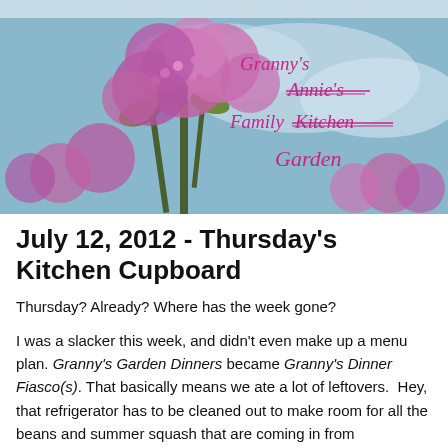[Figure (photo): Banner image of purple lilac flowers against a blue sky with handwritten-style text overlay reading "Granny's Annie's Family Kitchen Garden" in pink/magenta cursive font with strikethrough on Annie's and Kitchen]
July 12, 2012 - Thursday's Kitchen Cupboard
Thursday?  Already?  Where has the week gone?
I was a slacker this week, and didn't even make up a menu plan.  Granny's Garden Dinners became Granny's Dinner Fiasco(s).  That basically means we ate a lot of leftovers.  Hey, that refrigerator has to be cleaned out to make room for all the beans and summer squash that are coming in from